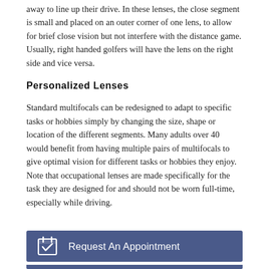away to line up their drive. In these lenses, the close segment is small and placed on an outer corner of one lens, to allow for brief close vision but not interfere with the distance game. Usually, right handed golfers will have the lens on the right side and vice versa.
Personalized Lenses
Standard multifocals can be redesigned to adapt to specific tasks or hobbies simply by changing the size, shape or location of the different segments. Many adults over 40 would benefit from having multiple pairs of multifocals to give optimal vision for different tasks or hobbies they enjoy. Note that occupational lenses are made specifically for the task they are designed for and should not be worn full-time, especially while driving.
[Figure (infographic): Blue appointment bar with calendar checkbox icon and text 'Request An Appointment']